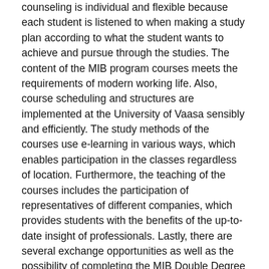counseling is individual and flexible because each student is listened to when making a study plan according to what the student wants to achieve and pursue through the studies. The content of the MIB program courses meets the requirements of modern working life. Also, course scheduling and structures are implemented at the University of Vaasa sensibly and efficiently. The study methods of the courses use e-learning in various ways, which enables participation in the classes regardless of location. Furthermore, the teaching of the courses includes the participation of representatives of different companies, which provides students with the benefits of the up-to-date insight of professionals. Lastly, there are several exchange opportunities as well as the possibility of completing the MIB Double Degree at European partner universities for those interested in international studies.
Of the many positive aspects of my study experience at the University of Vaasa, there are two in particular that I would like to highlight: the opportunity to work alongside my studies and the possibility to complete a Double Degree abroad. First of all, it is possible to combine work and studies in the MIB program, as the